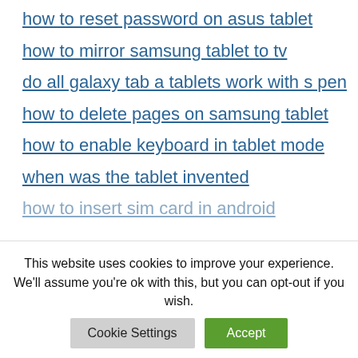how to reset password on asus tablet
how to mirror samsung tablet to tv
do all galaxy tab a tablets work with s pen
how to delete pages on samsung tablet
how to enable keyboard in tablet mode
when was the tablet invented
how to insert sim card in android
This website uses cookies to improve your experience. We'll assume you're ok with this, but you can opt-out if you wish.
Cookie Settings | Accept